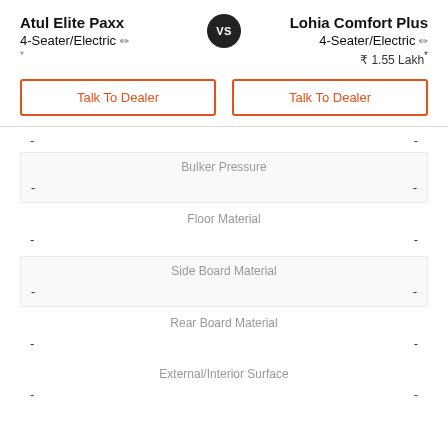Atul Elite Paxx 4-Seater/Electric VS Lohia Comfort Plus 4-Seater/Electric
₹ 1.55 Lakh*
Talk To Dealer | Talk To Dealer
| Atul Elite Paxx | Spec | Lohia Comfort Plus |
| --- | --- | --- |
| - | Bulker Pressure | - |
| - | Floor Material | - |
| - | Side Board Material | - |
| - | Rear Board Material | - |
| - | External/Interior Surface | - |